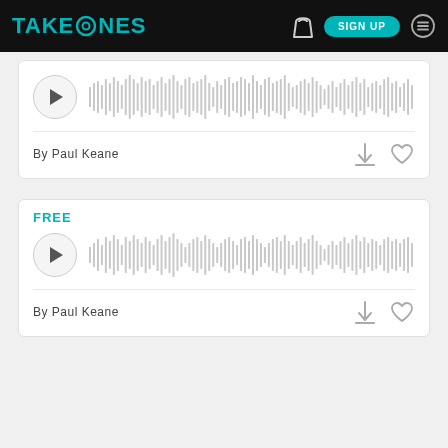TAKETONES | SIGN UP
[Figure (other): Audio player card with waveform visualization and play button. By Paul Keane. Download and like icons.]
[Figure (other): Audio player card marked FREE with waveform visualization and play button. By Paul Keane. Download and like icons.]